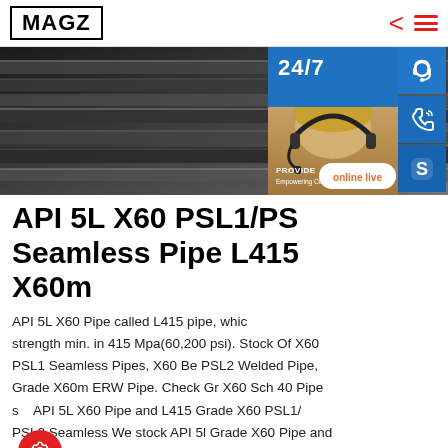MAGZ
[Figure (photo): Steel pipes stacked, dark metallic background. Overlay shows a customer service representative with headset, blue panel with '24/7' text, phone and Skype icon buttons, 'PROVIDE Empowering Customers' text, and an 'online live' button.]
API 5L X60 PSL1/PSL2 Seamless Pipe L415 X60m
API 5L X60 Pipe called L415 pipe, which strength min. in 415 Mpa(60,200 psi). Stock Of X60 PSL1 Seamless Pipes, X60 Be PSL2 Welded Pipe, Grade X60m ERW Pipe. Check Gr X60 Sch 40 Pipe s API 5L X60 Pipe and L415 Grade X60 PSL1/ PSL2 Seamless We stock API 5l Grade X60 Pipe and